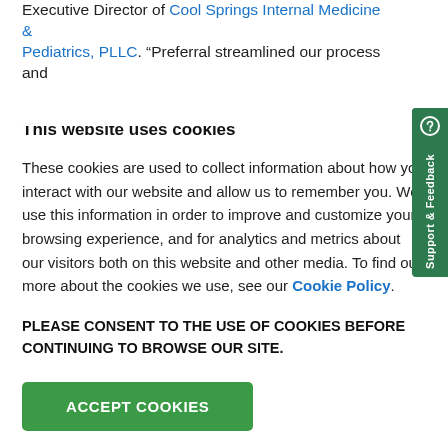Executive Director of Cool Springs Internal Medicine & Pediatrics, PLLC. “Preferral streamlined our process and
This website uses cookies
These cookies are used to collect information about how you interact with our website and allow us to remember you. We use this information in order to improve and customize your browsing experience, and for analytics and metrics about our visitors both on this website and other media. To find out more about the cookies we use, see our Cookie Policy.
PLEASE CONSENT TO THE USE OF COOKIES BEFORE CONTINUING TO BROWSE OUR SITE.
ACCEPT COOKIES